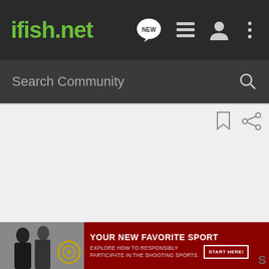ifish.net
Search Community
[Figure (screenshot): ifish.net website screenshot showing navigation bar with logo, NEW button, list icon, user icon, menu icon, a search bar, content area with bookmark and share icons, and an advertisement banner at the bottom reading YOUR NEW FAVORITE SPORT - EXPLORE HOW TO RESPONSIBLY PARTICIPATE IN THE SHOOTING SPORTS. START HERE!]